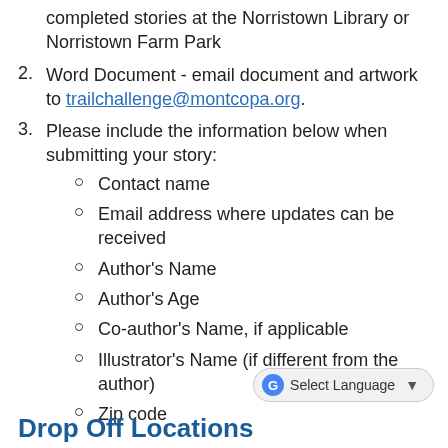completed stories at the Norristown Library or Norristown Farm Park
2. Word Document - email document and artwork to trailchallenge@montcopa.org.
3. Please include the information below when submitting your story:
Contact name
Email address where updates can be received
Author's Name
Author's Age
Co-author's Name, if applicable
Illustrator's Name (if different from the author)
Zip code
Drop Off Locations